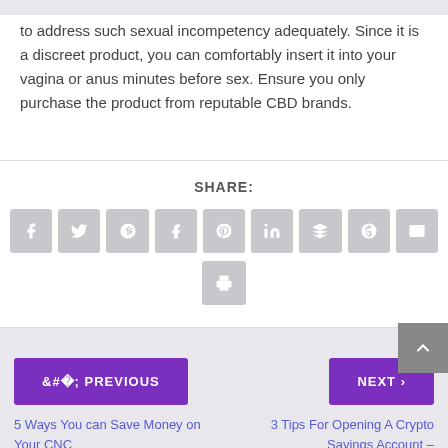to address such sexual incompetency adequately. Since it is a discreet product, you can comfortably insert it into your vagina or anus minutes before sex. Ensure you only purchase the product from reputable CBD brands.
SHARE:
[Figure (infographic): Row of social sharing icon buttons: Facebook, Twitter, Google+, Tumblr, Pinterest, LinkedIn, Buffer, StumbleUpon, Email, and a Print button below]
< PREVIOUS
NEXT >
5 Ways You can Save Money on Your CNC
3 Tips For Opening A Crypto Savings Account –